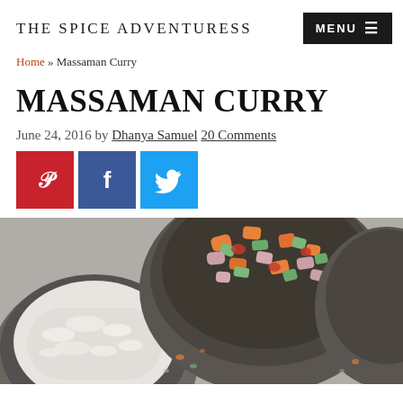THE SPICE ADVENTURESS
Home » Massaman Curry
MASSAMAN CURRY
June 24, 2016 by Dhanya Samuel 20 Comments
[Figure (infographic): Social share buttons: Pinterest (red), Facebook (blue), Twitter (light blue)]
[Figure (photo): Overhead photo of bowls containing rice and chopped vegetables (carrots, peppers, onions) for Massaman Curry on a grey surface]